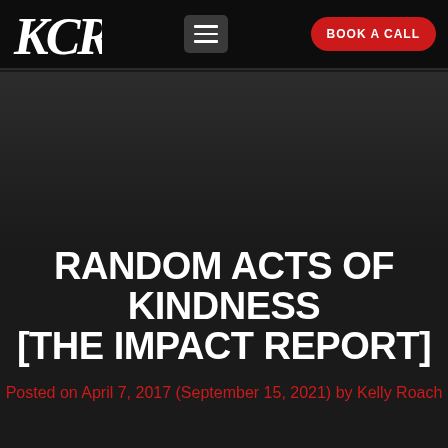[Figure (logo): KCR monogram logo in white serif italic letters on black background]
BOOK A CALL
[Figure (photo): Dark gradient hero image area, near-black background]
RANDOM ACTS OF KINDNESS [THE IMPACT REPORT]
Posted on April 7, 2017 (September 15, 2021) by Kelly Roach